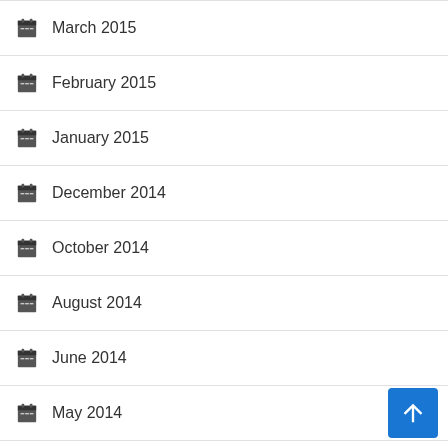March 2015
February 2015
January 2015
December 2014
October 2014
August 2014
June 2014
May 2014
April 2014
January 2014
November 2013
October 2013
September 2013